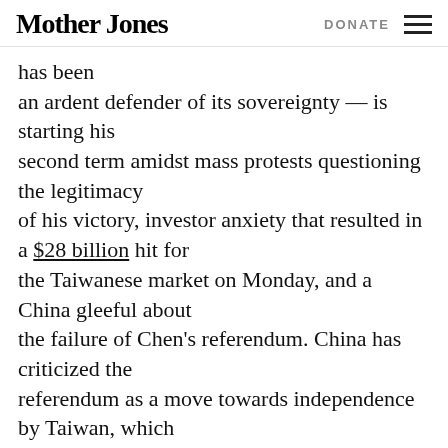Mother Jones | DONATE
has been an ardent defender of its sovereignty — is starting his second term amidst mass protests questioning the legitimacy of his victory, investor anxiety that resulted in a $28 billion hit for the Taiwanese market on Monday, and a China gleeful about the failure of Chen's referendum. China has criticized the referendum as a move towards independence by Taiwan, which it regards as a breakaway province.